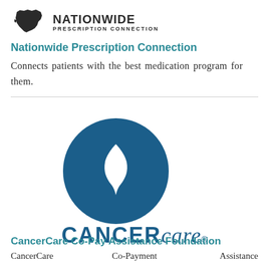[Figure (logo): Nationwide Prescription Connection logo with US map silhouette and bold text]
Nationwide Prescription Connection
Connects patients with the best medication program for them.
[Figure (logo): CancerCare logo: blue circle with white flame, CANCERCARE wordmark in blue]
CancerCare Co-Pay Assistance Foundation
CancerCare   Co-Payment   Assistance